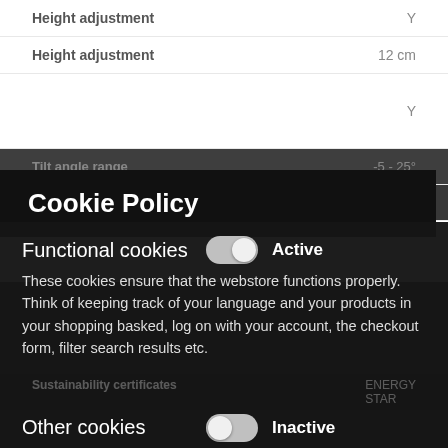| Feature | Value |
| --- | --- |
| Height adjustment | Y |
| Height adjustment | 12 cm |
|  | Y |
| Tilt angle range | -5 - 25° |
| Power |  |
| Sustainability certificates | ENERGY STAR |
| Other features |  |
| Display | LED |
Cookie Policy
Functional cookies  Active
These cookies ensure that the webstore functions properly. Think of keeping track of your language and your products in your shopping basked, log on with your account, the checkout form, filter search results etc.
Other cookies  Inactive
We use analytical and tracking cookies to see how we can improve the webstore and how we can adapt content and potential advertisements to your preference.
Save Settings